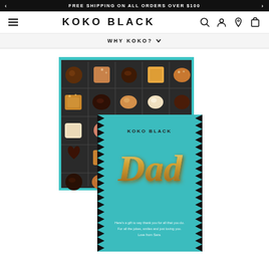FREE SHIPPING ON ALL ORDERS OVER $100
[Figure (logo): KOKO BLACK logo with navigation icons (hamburger menu, search, account, location, cart)]
WHY KOKO?
[Figure (photo): A dark chocolate gift box with multiple assorted chocolates arranged in a grid, overlaid by a teal gift card with gold 'Dad' lettering and KOKO BLACK branding, with black and white triangular border pattern on the card]